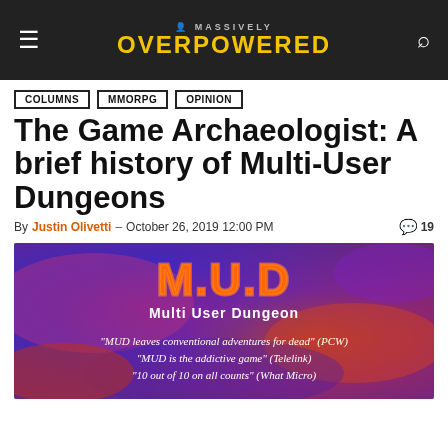Massively Overpowered
COLUMNS
MMORPG
OPINION
The Game Archaeologist: A brief history of Multi-User Dungeons
By Justin Olivetti – October 26, 2019 12:00 PM  19
[Figure (illustration): M.U.D Multi User Dungeon promotional image with purple and red swirling background. Text reads: "MUD leaves conventional adventures for dead" (PCW) "MUD is the addictive game" (Telelink) "10 out of 10 on all counts" (What Micro)]